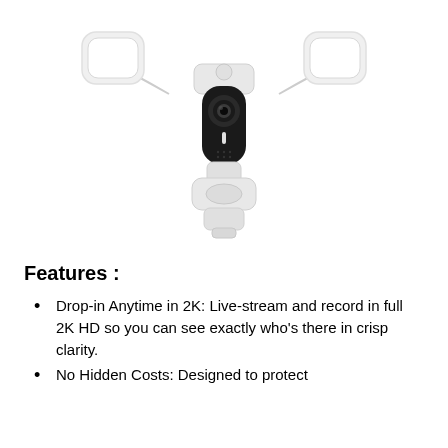[Figure (photo): White outdoor floodlight security camera with two large bright floodlights on left and right, a central black oval camera module with lens, and a motion sensor at the bottom. The device is mounted on a white base.]
Features :
Drop-in Anytime in 2K: Live-stream and record in full 2K HD so you can see exactly who's there in crisp clarity.
No Hidden Costs: Designed to protect